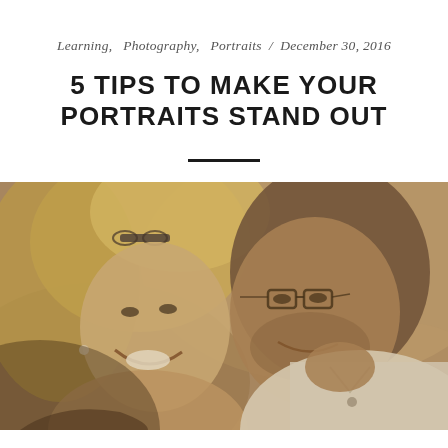Learning,  Photography,  Portraits  /  December 30, 2016
5 TIPS TO MAKE YOUR PORTRAITS STAND OUT
[Figure (photo): Sepia-toned close-up photo of a smiling couple facing each other. A blonde woman with sunglasses on her head laughs joyfully on the left; a man wearing glasses looks at her on the right, wearing a white polo shirt.]